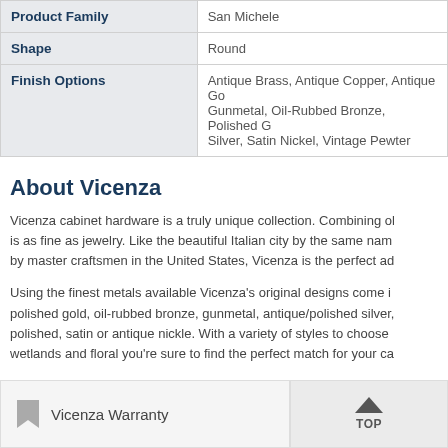|  |  |
| --- | --- |
| Product Family | San Michele |
| Shape | Round |
| Finish Options | Antique Brass, Antique Copper, Antique Gold, Gunmetal, Oil-Rubbed Bronze, Polished Gold, Silver, Satin Nickel, Vintage Pewter |
About Vicenza
Vicenza cabinet hardware is a truly unique collection. Combining old world craftsmanship with modern design, the result is as fine as jewelry. Like the beautiful Italian city by the same name, and handcrafted by master craftsmen in the United States, Vicenza is the perfect addition to any home.
Using the finest metals available Vicenza's original designs come in antique brass, antique copper, polished gold, oil-rubbed bronze, gunmetal, antique/polished silver, satin nickel and vintage pewter as well as polished, satin or antique nickle. With a variety of styles to choose from including art nouveau, wildlife, wetlands and floral you're sure to find the perfect match for your cabinet hardware needs.
Vicenza Warranty